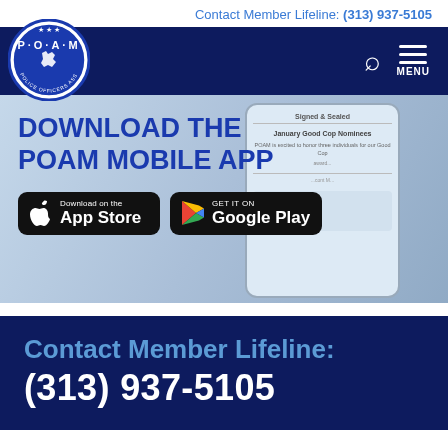Contact Member Lifeline: (313) 937-5105
[Figure (logo): POAM Police Officers Association of Michigan circular logo with Michigan state outline]
DOWNLOAD THE POAM MOBILE APP
[Figure (screenshot): Smartphone screen showing POAM app with January Good Cop Nominees content]
[Figure (other): Download on the App Store button]
[Figure (other): GET IT ON Google Play button]
Contact Member Lifeline:
(313) 937-5105